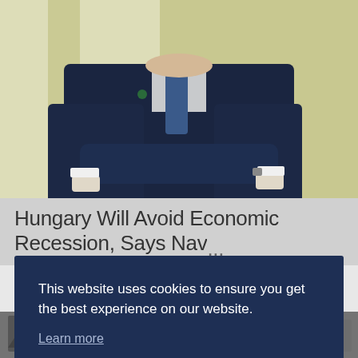[Figure (photo): A man in a dark navy suit with arms crossed, standing against a pale yellow wall. He wears a blue tie and a lapel pin. Headless (torso shot from neck/chin down).]
Hungary Will Avoid Economic Recession, Says Nav...
This website uses cookies to ensure you get the best experience on our website.
Learn more
Decline
Allow cookies
[Figure (photo): Partial black and white photo visible at the very bottom of the page, partially obscured by the cookie overlay.]